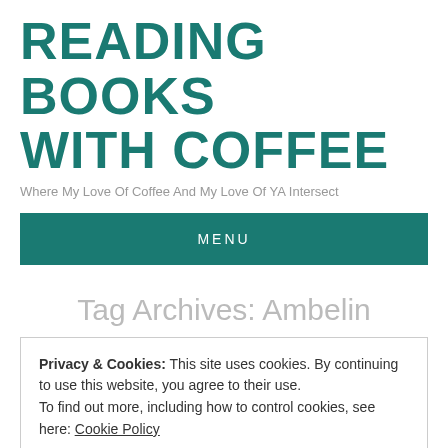READING BOOKS WITH COFFEE
Where My Love Of Coffee And My Love Of YA Intersect
MENU
Tag Archives: Ambelin
Privacy & Cookies: This site uses cookies. By continuing to use this website, you agree to their use.
To find out more, including how to control cookies, see here: Cookie Policy
Close and accept